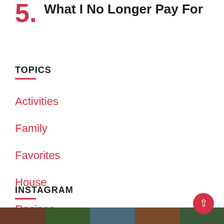5. What I No Longer Pay For
TOPICS
Activities
Family
Favorites
House
Recipes
INSTAGRAM
[Figure (photo): Instagram thumbnail images strip at bottom of page]